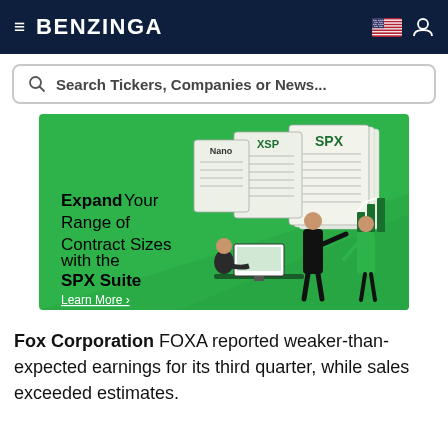BENZINGA
Search Tickers, Companies or News...
[Figure (illustration): Green advertisement banner for the SPX Suite showing illustrated office workers and stacked contract documents labeled Nano, XSP, SPX. Text reads: Expand Your Range of Contract Sizes with the SPX Suite. Learn More arrow link at bottom.]
Fox Corporation FOXA reported weaker-than-expected earnings for its third quarter, while sales exceeded estimates.